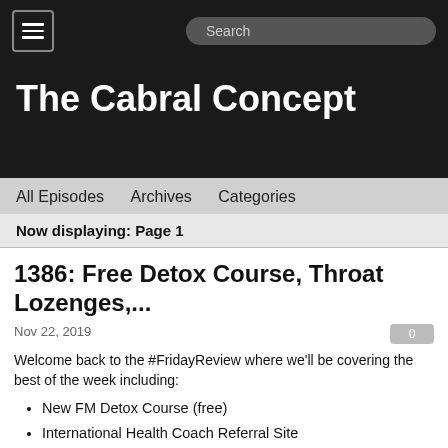The Cabral Concept
All Episodes  Archives  Categories
Now displaying: Page 1
1386: Free Detox Course, Throat Lozenges,...
Nov 22, 2019
Welcome back to the #FridayReview where we'll be covering the best of the week including:
New FM Detox Course (free)
International Health Coach Referral Site
Dangers of Fluoride Confirmed
Save vs. Scary Plastics
Zinc Lozenges with Elderberry